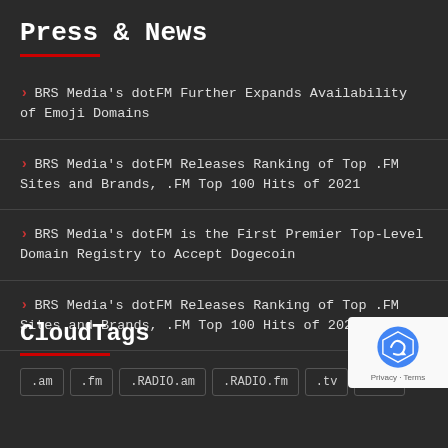Press & News
BRS Media's dotFM Further Expands Availability of Emoji Domains
BRS Media's dotFM Releases Ranking of Top .FM Sites and Brands, .FM Top 100 Hits of 2021
BRS Media's dotFM is the First Premier Top-Level Domain Registry to Accept Dogecoin
BRS Media's dotFM Releases Ranking of Top .FM Sites and Brands, .FM Top 100 Hits of 2020
CloudTags
.am
.fm
.RADIO.am
.RADIO.fm
.tv
Apps